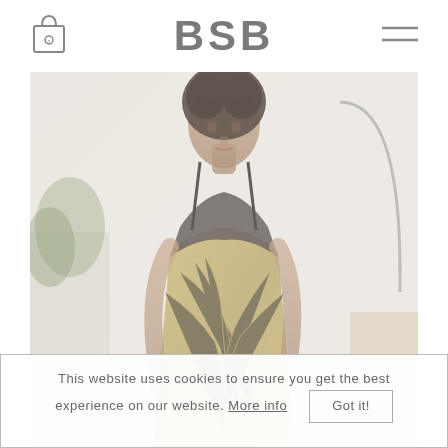BSB
[Figure (photo): A fashion model wearing a gold/olive patterned spaghetti-strap dress with black lace bodice, standing in a bright interior room. The image is slightly faded/washed out.]
This website uses cookies to ensure you get the best experience on our website. More info   Got it!